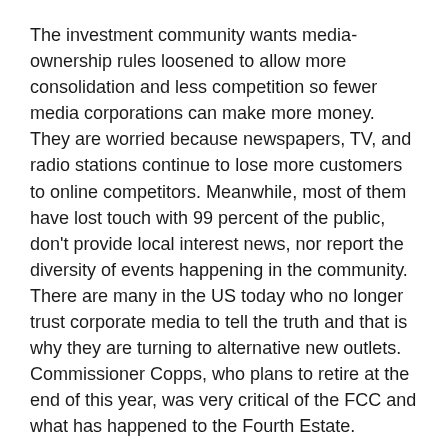The investment community wants media-ownership rules loosened to allow more consolidation and less competition so fewer media corporations can make more money.
They are worried because newspapers, TV, and radio stations continue to lose more customers to online competitors. Meanwhile, most of them have lost touch with 99 percent of the public, don’t provide local interest news, nor report the diversity of events happening in the community.
There are many in the US today who no longer trust corporate media to tell the truth and that is why they are turning to alternative new outlets.
Commissioner Copps, who plans to retire at the end of this year, was very critical of the FCC and what has happened to the Fourth Estate.